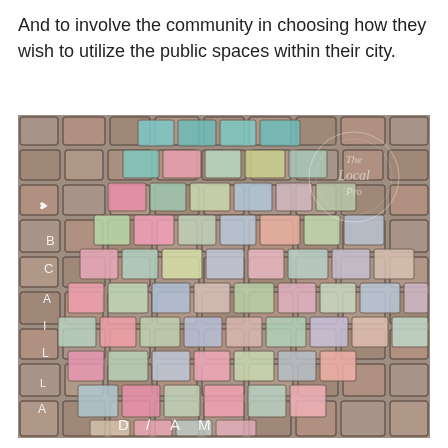And to involve the community in choosing how they wish to utilize the public spaces within their city.
[Figure (photo): A cobblestone street with colorful chalk art creating a fish or mosaic pattern across the paving stones. Chalk text visible includes letters along the left side and 'DIAM' along the bottom. A watermark reads 'The Local Pro' in the upper right area of the image.]